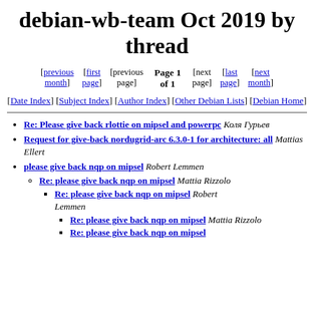debian-wb-team Oct 2019 by thread
Page 1 of 1
[previous month] [first page] [previous page]  [next page] [last page] [next month]
[Date Index] [Subject Index] [Author Index] [Other Debian Lists] [Debian Home]
Re: Please give back rlottie on mipsel and powerpc  Коля Гурьев
Request for give-back nordugrid-arc 6.3.0-1 for architecture: all  Mattias Ellert
please give back nqp on mipsel  Robert Lemmen
Re: please give back nqp on mipsel  Mattia Rizzolo
Re: please give back nqp on mipsel  Robert Lemmen
Re: please give back nqp on mipsel  Mattia Rizzolo
Re: please give back nqp on mipsel